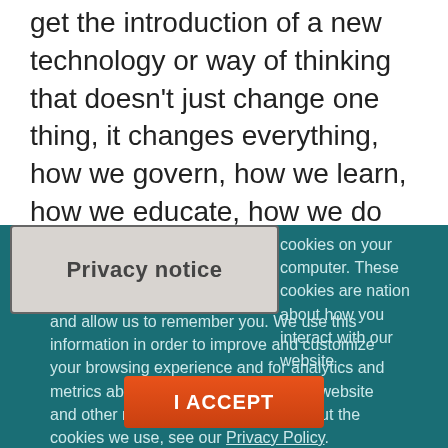...Promethean moments are. They're moments where we get the introduction of a new technology or way of thinking that doesn't just change one thing, it changes everything, how we govern, how we learn, how we educate, how we do commerce, how we build a museum. Okay? We know what those Promethean moments are. They're the printing press, the scientific revolution, the agricultural revolution, the industrial revolution, and this moment we're going through now. Yeah. You are here for
Privacy notice
...cookies on your computer. These cookies are ...nation about how you interact with our website and allow us to remember you. We use this information in order to improve and customize your browsing experience and for analytics and metrics about our visitors both on this website and other media. To find out more about the cookies we use, see our Privacy Policy.
I ACCEPT